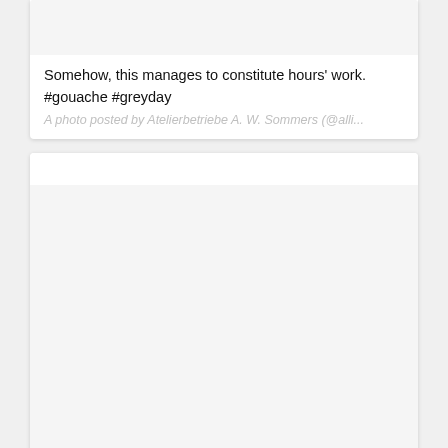[Figure (photo): Light gray image placeholder at top of first card]
Somehow, this manages to constitute hours' work.
#gouache #greyday
A photo posted by Atelierbetriebe A. W. Sommers (@alli...
[Figure (photo): Light gray image placeholder inside second card]